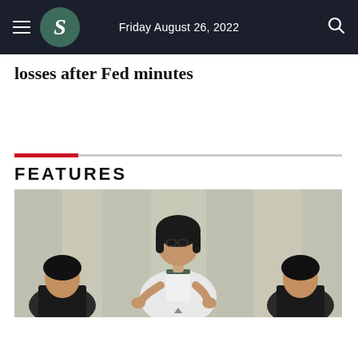Friday August 26, 2022
losses after Fed minutes
FEATURES
[Figure (photo): A man with glasses and shoulder-length dark hair wearing a white polo shirt, gesturing with his hands, with other people partially visible and patterned curtains in the background.]